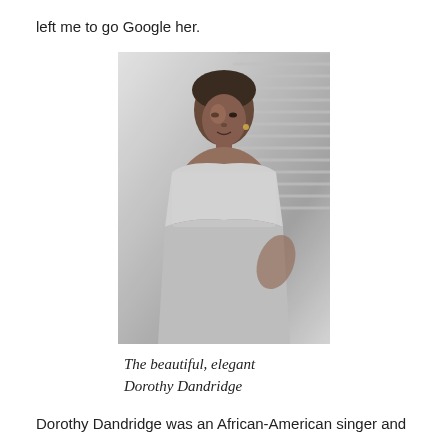left me to go Google her.
[Figure (photo): Black and white portrait photograph of Dorothy Dandridge, an elegant African-American woman wearing a strapless gown, posed in front of venetian blinds.]
The beautiful, elegant Dorothy Dandridge
Dorothy Dandridge was an African-American singer and